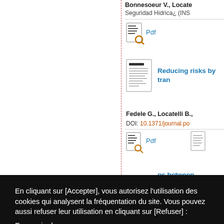Bonnesoeur V., Locatelli B., ... Seguridad Hidrica¿ (INS...
[Figure (other): PDF icon link]
Pdf
[Figure (other): Document thumbnail icon]
Reducing risks by tran...
Fedele G., Locatelli B., ...
DOI: 10.1371/journal.po...
[Figure (other): PDF icon link]
Pdf
ps between...
ocatelli B., L...
6/j.ecolecon...
[Figure (other): Document icon]
En cliquant sur [Accepter], vous autorisez l'utilisation des cookies qui analysent la fréquentation du site. Vous pouvez aussi refuser leur utilisation en cliquant sur [Refuser] :
En savoir plus
Refuser
Accepter
Site du...
Annua...
CIRAD POUR LE DEVELOPPEMENT